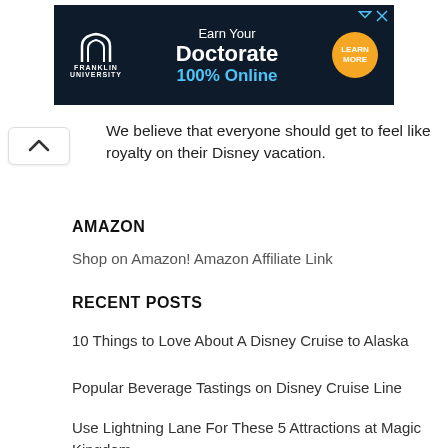[Figure (other): Franklin University advertisement banner: 'Earn Your Doctorate 100% Online' with Learn More button]
We believe that everyone should get to feel like royalty on their Disney vacation.
AMAZON
Shop on Amazon! Amazon Affiliate Link
RECENT POSTS
10 Things to Love About A Disney Cruise to Alaska
Popular Beverage Tastings on Disney Cruise Line
Use Lightning Lane For These 5 Attractions at Magic Kingdom